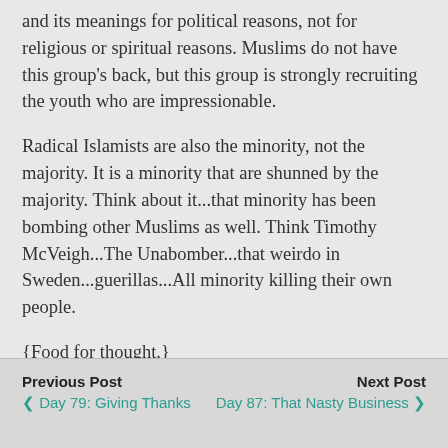and its meanings for political reasons, not for religious or spiritual reasons.  Muslims do not have this group's back, but this group is strongly recruiting the youth who are impressionable.
Radical Islamists are also the minority, not the majority.  It is a minority that are shunned by the majority.  Think about it...that minority has been bombing other Muslims as well.  Think Timothy McVeigh...The Unabomber...that weirdo in Sweden...guerillas...All minority killing their own people.
{Food for thought.}
Previous Post  ❮ Day 79: Giving Thanks    Next Post  Day 87: That Nasty Business Called C... ❯